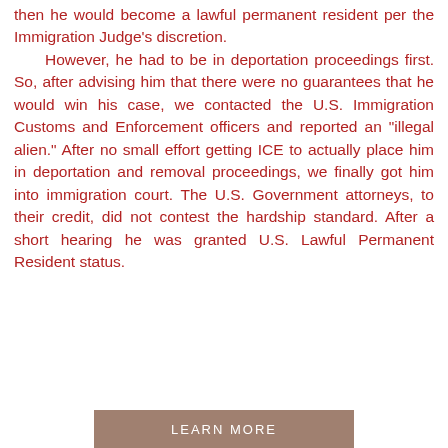then he would become a lawful permanent resident per the Immigration Judge's discretion. However, he had to be in deportation proceedings first. So, after advising him that there were no guarantees that he would win his case, we contacted the U.S. Immigration Customs and Enforcement officers and reported an "illegal alien." After no small effort getting ICE to actually place him in deportation and removal proceedings, we finally got him into immigration court. The U.S. Government attorneys, to their credit, did not contest the hardship standard. After a short hearing he was granted U.S. Lawful Permanent Resident status.
LEARN MORE